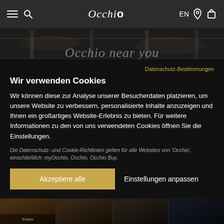Occhio – Navigation: menu, search, EN, location, cart
[Figure (screenshot): Hero background image of Occhio store with 'Occhio near you' heading overlaid in light grey italic text]
Datenschutz-Bestimmungen
Wir verwenden Cookies
Wir können diese zur Analyse unserer Besucherdaten platzieren, um unsere Website zu verbessern, personalisierte Inhalte anzuzeigen und Ihnen ein großartiges Website-Erlebnis zu bieten. Für weitere Informationen zu den von uns verwendeten Cookies öffnen Sie die Einstellungen.
Die Datenschutz- und Cookie-Richtlinien gelten für alle Websites von 'Occhio', einschließlich: myOcchio, Occhio, Occhio Buy.
Akzeptiere alle
Einstellungen anpassen
[Figure (photo): Bottom strip of four Occhio store interior images]